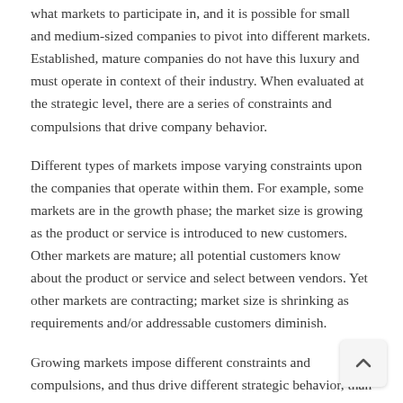what markets to participate in, and it is possible for small and medium-sized companies to pivot into different markets. Established, mature companies do not have this luxury and must operate in context of their industry. When evaluated at the strategic level, there are a series of constraints and compulsions that drive company behavior.
Different types of markets impose varying constraints upon the companies that operate within them. For example, some markets are in the growth phase; the market size is growing as the product or service is introduced to new customers. Other markets are mature; all potential customers know about the product or service and select between vendors. Yet other markets are contracting; market size is shrinking as requirements and/or addressable customers diminish.
Growing markets impose different constraints and compulsions, and thus drive different strategic behavior, than mature or contracting markets. Growing markets obviously compel companies to focus on reaching new customers, while mature